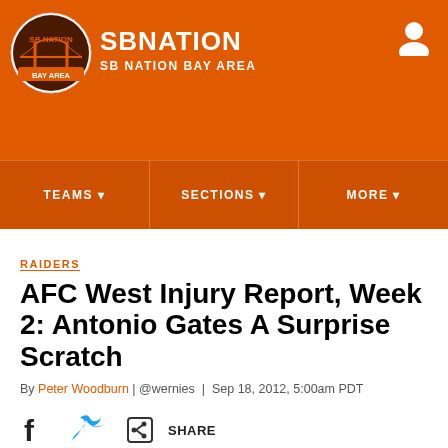SB NATION / SB NATION BAY AREA
[Figure (logo): SB Nation Bay Area circular logo with golden gate bridge graphic]
RAIDERS
AFC West Injury Report, Week 2: Antonio Gates A Surprise Scratch
By Peter Woodburn | @wernies | Sep 18, 2012, 5:00am PDT
SHARE (social share icons: Facebook, Twitter, Share)